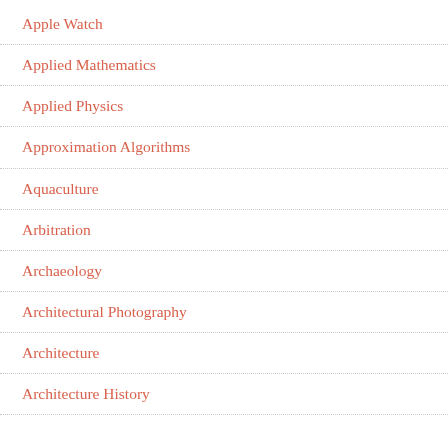Apple Watch
Applied Mathematics
Applied Physics
Approximation Algorithms
Aquaculture
Arbitration
Archaeology
Architectural Photography
Architecture
Architecture History